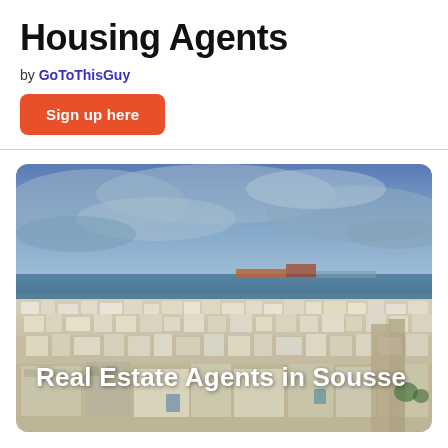Housing Agents
by GoToThisGuy
Sign up here
[Figure (photo): Aerial view of Sousse, Tunisia, showing the medina, port, and Mediterranean Sea under a cloudy blue sky. Text overlay reads 'Real Estate Agents in Sousse'.]